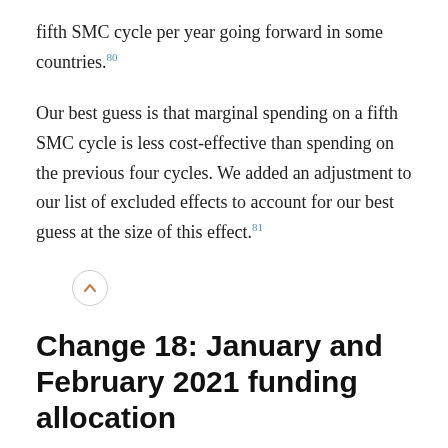fifth SMC cycle per year going forward in some countries.⁸⁰
Our best guess is that marginal spending on a fifth SMC cycle is less cost-effective than spending on the previous four cycles. We added an adjustment to our list of excluded effects to account for our best guess at the size of this effect.⁸¹
[Figure (other): A circular button with an upward-pointing chevron arrow, styled with a light grey border.]
Change 18: January and February 2021 funding allocation